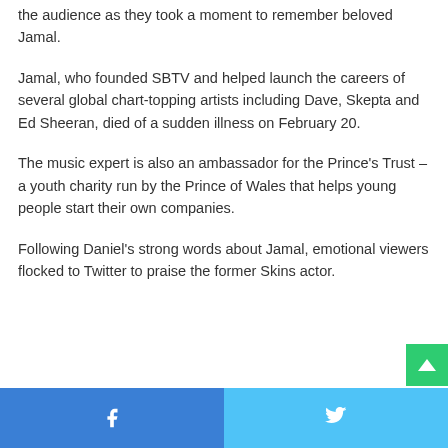the audience as they took a moment to remember beloved Jamal.
Jamal, who founded SBTV and helped launch the careers of several global chart-topping artists including Dave, Skepta and Ed Sheeran, died of a sudden illness on February 20.
The music expert is also an ambassador for the Prince's Trust – a youth charity run by the Prince of Wales that helps young people start their own companies.
Following Daniel's strong words about Jamal, emotional viewers flocked to Twitter to praise the former Skins actor.
Facebook share | Twitter share